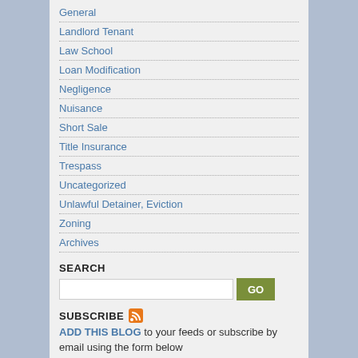General
Landlord Tenant
Law School
Loan Modification
Negligence
Nuisance
Short Sale
Title Insurance
Trespass
Uncategorized
Unlawful Detainer, Eviction
Zoning
Archives
SEARCH
SUBSCRIBE
ADD THIS BLOG to your feeds or subscribe by email using the form below
[subscribe2]